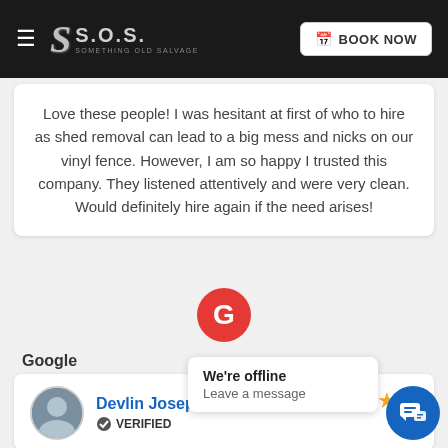S.O.S. SOMETHING OLD SALVAGE — BOOK NOW
Love these people! I was hesitant at first of who to hire as shed removal can lead to a big mess and nicks on our vinyl fence. However, I am so happy I trusted this company. They listened attentively and were very clean. Would definitely hire again if the need arises!
[Figure (logo): Google G logo in red circle]
Google
Devlin Joseph — VERIFIED — 5 stars
Easy to set up a... quick and easy. I will ... er and...